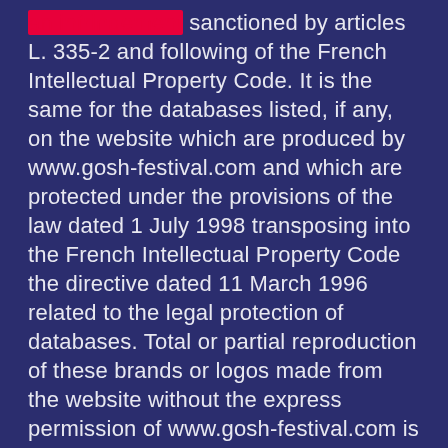an infringement sanctioned by articles L. 335-2 and following of the French Intellectual Property Code. It is the same for the databases listed, if any, on the website which are produced by www.gosh-festival.com and which are protected under the provisions of the law dated 1 July 1998 transposing into the French Intellectual Property Code the directive dated 11 March 1996 related to the legal protection of databases. Total or partial reproduction of these brands or logos made from the website without the express permission of www.gosh-festival.com is prohibited under the French Intellectual Property Code. www.gosh-festival.com cannot be held responsible for the access by users via hypertext links set up within the website leading to other resources existing on the network. Any dispute related to the use of www.gosh-festival.com is subject to French law. Users